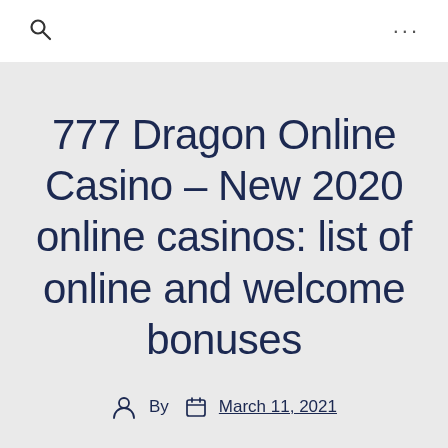🔍  ...
777 Dragon Online Casino – New 2020 online casinos: list of online and welcome bonuses
By  March 11, 2021